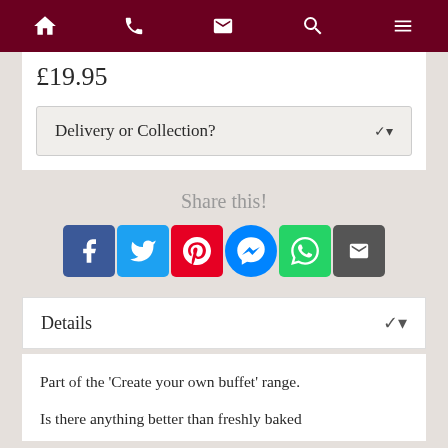Navigation bar with home, phone, email, search, menu icons
£19.95
Delivery or Collection?
Share this!
[Figure (infographic): Social sharing icons: Facebook, Twitter, Pinterest, Messenger, WhatsApp, Email]
Details
Part of the 'Create your own buffet' range.
Is there anything better than freshly baked